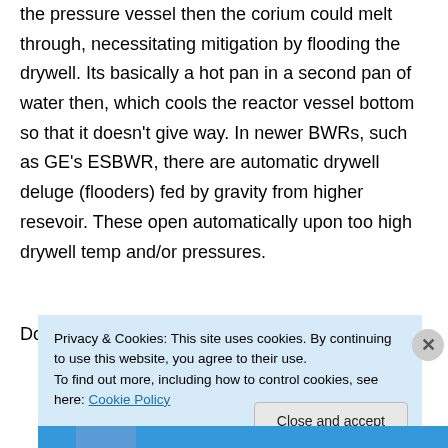the pressure vessel then the corium could melt through, necessitating mitigation by flooding the drywell. Its basically a hot pan in a second pan of water then, which cools the reactor vessel bottom so that it doesn't give way. In newer BWRs, such as GE's ESBWR, there are automatic drywell deluge (flooders) fed by gravity from higher resevoir. These open automatically upon too high drywell temp and/or pressures.
Does anyone know if the drywell bulb bottom is
Privacy & Cookies: This site uses cookies. By continuing to use this website, you agree to their use.
To find out more, including how to control cookies, see here: Cookie Policy
Close and accept